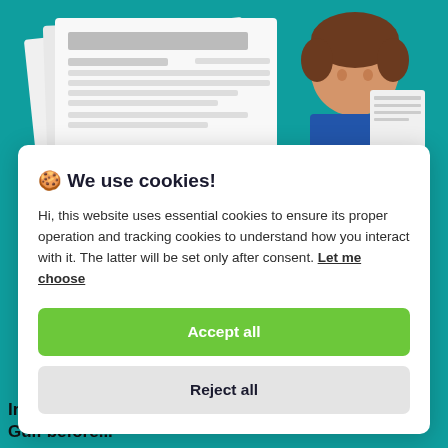[Figure (screenshot): Website screenshot showing a cookie consent modal dialog over a teal background with a news illustration. The modal has a title '🍪 We use cookies!', body text about essential and tracking cookies, a 'Let me choose' link, an 'Accept all' green button, and a 'Reject all' gray button. Behind the modal is a teal background with a cartoon news reader illustration. At the bottom, partial headline text reads 'Iran's IRGC allegedly captured US maritime drone in Gulf before...']
🍪 We use cookies!
Hi, this website uses essential cookies to ensure its proper operation and tracking cookies to understand how you interact with it. The latter will be set only after consent. Let me choose
Accept all
Reject all
Iran's IRGC allegedly captured US maritime drone in Gulf before...